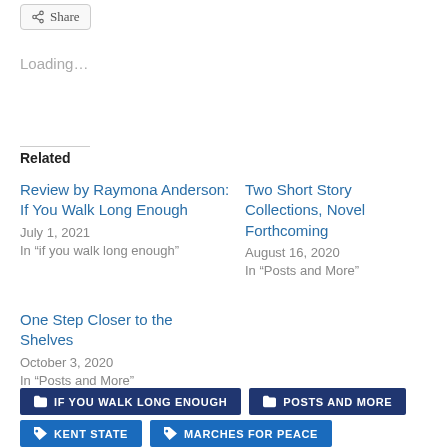[Figure (other): Share button with share icon]
Loading...
Related
Review by Raymona Anderson: If You Walk Long Enough
July 1, 2021
In "if you walk long enough"
Two Short Story Collections, Novel Forthcoming
August 16, 2020
In "Posts and More"
One Step Closer to the Shelves
October 3, 2020
In "Posts and More"
IF YOU WALK LONG ENOUGH
POSTS AND MORE
KENT STATE
MARCHES FOR PEACE